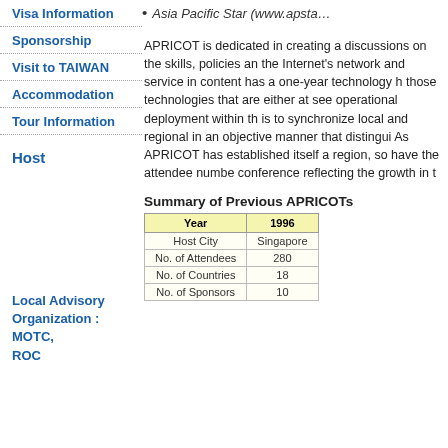Visa Information
Sponsorship
Visit to TAIWAN
Accommodation
Tour Information
Host
Local Advisory Organization : MOTC, ROC
Local Host
Asia Pacific Star (www.apsta…)
APRICOT is dedicated in creating a discussions on the skills, policies an the Internet's network and service in content has a one-year technology h those technologies that are either at see operational deployment within th is to synchronize local and regional in an objective manner that distingui As APRICOT has established itself a region, so have the attendee numbe conference reflecting the growth in t
Summary of Previous APRICOTs
| Year | 1996 |
| --- | --- |
| Host City | Singapore |
| No. of Attendees | 280 |
| No. of Countries | 18 |
| No. of Sponsors | 10 |